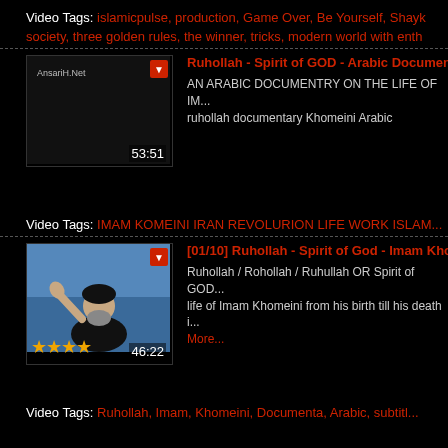Video Tags: islamicpulse, production, Game Over, Be Yourself, Shayk... society, three golden rules, the winner, tricks, modern world with enth...
[Figure (screenshot): Video thumbnail for Ruhollah - Spirit of GOD - Arabic Documentary, black background with AnasarH.Net label, duration 53:51]
Ruhollah - Spirit of GOD - Arabic Documenta...
AN ARABIC DOCUMENTRY ON THE LIFE OF IM... ruhollah documentary Khomeini Arabic
Video Tags: IMAM KOMEINI IRAN REVOLURION LIFE WORK ISLAM...
[Figure (screenshot): Video thumbnail for [01/10] Ruhollah - Spirit of God - Imam Khome..., showing a man in clerical dress with raised hand, 4-star rating, duration 46:22]
[01/10] Ruhollah - Spirit of God - Imam Khome...
Ruhollah / Rohollah / Ruhullah OR Spirit of GOD... life of Imam Khomeini from his birth till his death i... More...
Video Tags: Ruhollah, Imam, Khomeini, Documenta, Arabic, subtitl...